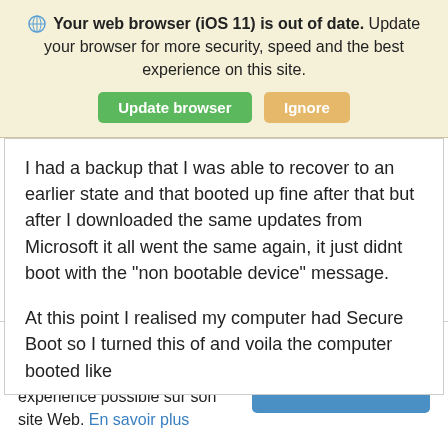🌐 Your web browser (iOS 11) is out of date. Update your browser for more security, speed and the best experience on this site. [Update browser] [Ignore]
I had a backup that I was able to recover to an earlier state and that booted up fine after that but after I downloaded the same updates from Microsoft it all went the same again, it just didnt boot with the "non bootable device" message.

At this point I realised my computer had Secure Boot so I turned this of and voila the computer booted like
Acronis utilise des cookies afin de vous assurer la meilleure expérience possible sur son site Web. En savoir plus [J'ai compris]